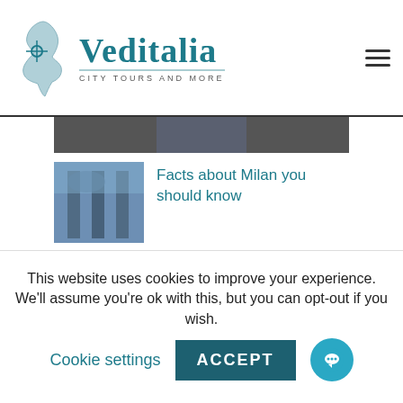[Figure (logo): Veditalia City Tours and More logo with Italy map icon]
[Figure (photo): Partial photo strip visible at top of content area]
[Figure (photo): Thumbnail photo of Milan architectural arch/monument]
Facts about Milan you should know
[Figure (photo): Thumbnail photo of the Colosseum in Rome]
Things you should know about the Colosseum – Rome
This website uses cookies to improve your experience. We'll assume you're ok with this, but you can opt-out if you wish. Cookie settings ACCEPT